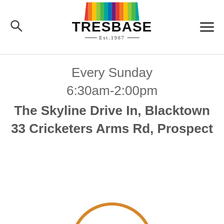[Figure (logo): TRESBASE logo with colorful striped awning on top, bold text TRESBASE, and Est. 1987 below]
Every Sunday
6:30am-2:00pm
The Skyline Drive In, Blacktown
33 Cricketers Arms Rd, Prospect
[Figure (illustration): Partial orange clock face visible at bottom of page]